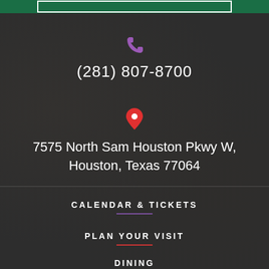[Figure (other): Green banner/logo strip at top]
(281) 807-8700
7575 North Sam Houston Pkwy W, Houston, Texas 77064
CALENDAR & TICKETS
PLAN YOUR VISIT
DINING